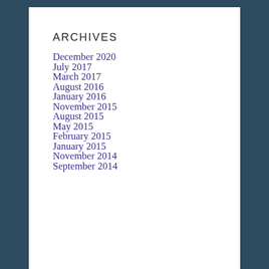ARCHIVES
December 2020
July 2017
March 2017
August 2016
January 2016
November 2015
August 2015
May 2015
February 2015
January 2015
November 2014
September 2014